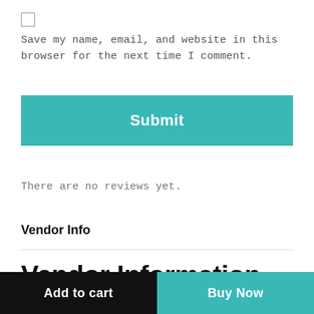Save my name, email, and website in this browser for the next time I comment.
Submit
There are no reviews yet.
Vendor Info
Vendor Information
Add to cart
Buy Now